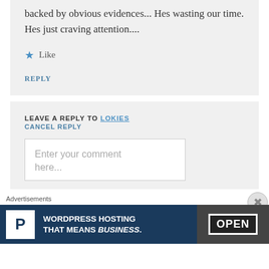backed by obvious evidences... Hes wasting our time. Hes just craving attention....
Like
REPLY
LEAVE A REPLY TO LOKIES
CANCEL REPLY
Enter your comment here...
Advertisements
WORDPRESS HOSTING THAT MEANS BUSINESS.